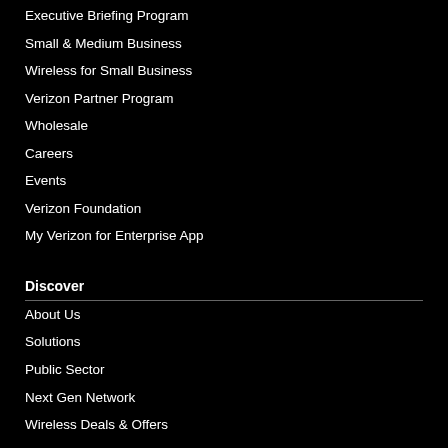Executive Briefing Program
Small & Medium Business
Wireless for Small Business
Verizon Partner Program
Wholesale
Careers
Events
Verizon Foundation
My Verizon for Enterprise App
Discover
About Us
Solutions
Public Sector
Next Gen Network
Wireless Deals & Offers
Industries
Products
Resources
Why Verizon